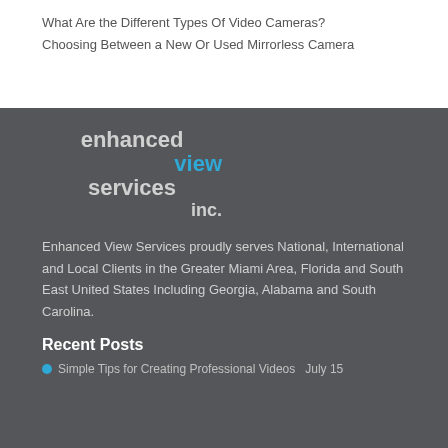What Are the Different Types Of Video Cameras?
Choosing Between a New Or Used Mirrorless Camera
[Figure (logo): Enhanced View Services Inc. logo with 'enhanced' and 'services inc.' in light gray and 'view' in blue, bold lowercase text]
Enhanced View Services proudly serves National, International and Local Clients in the Greater Miami Area, Florida and South East United States Including Georgia, Alabama and South Carolina.
Recent Posts
Simple Tips for Creating Professional Videos  July 15